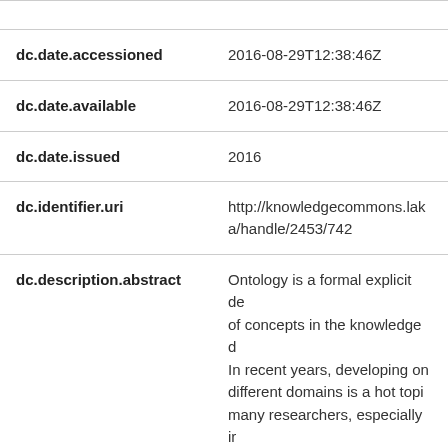| Field | Value |
| --- | --- |
| dc.date.accessioned | 2016-08-29T12:38:46Z |
| dc.date.available | 2016-08-29T12:38:46Z |
| dc.date.issued | 2016 |
| dc.identifier.uri | http://knowledgecommons.lakeheadu.ca/handle/2453/742 |
| dc.description.abstract | Ontology is a formal explicit description of concepts in the knowledge domain. In recent years, developing ontologies for different domains is a hot topic among many researchers, especially in the medical field because of the benefits offered to users. Using ontology enables sharing and reusing domain knowledge in an efficient and explicit way. In particular, ontology in medical field facilitate the access to query d... |